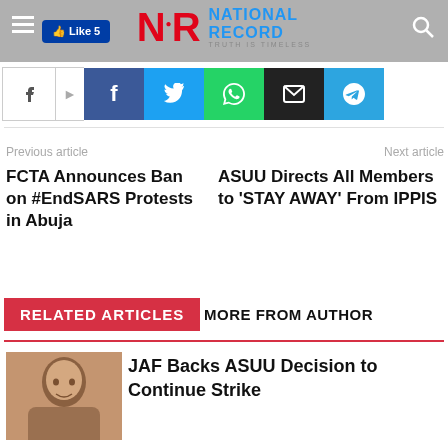National Record — TRUTH IS TIMELESS
[Figure (screenshot): Social media share buttons: share icon, Facebook, Twitter, WhatsApp, Email, Telegram]
Previous article
Next article
FCTA Announces Ban on #EndSARS Protests in Abuja
ASUU Directs All Members to 'STAY AWAY' From IPPIS
RELATED ARTICLES
MORE FROM AUTHOR
JAF Backs ASUU Decision to Continue Strike